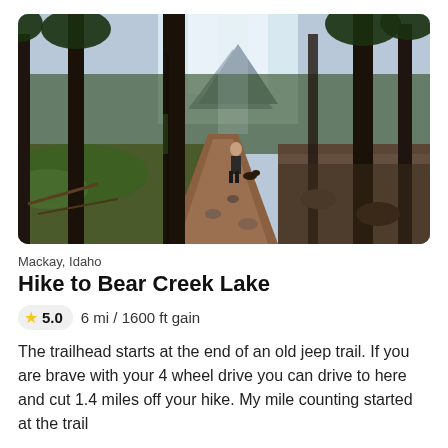[Figure (photo): Forest trail scene with tall pine trees, a hiker in the middle distance, dirt path, and a mountain visible through the trees in the background. Sunny day with green undergrowth.]
Mackay, Idaho
Hike to Bear Creek Lake
5.0   6 mi / 1600 ft gain
The trailhead starts at the end of an old jeep trail. If you are brave with your 4 wheel drive you can drive to here and cut 1.4 miles off your hike. My mile counting started at the trail